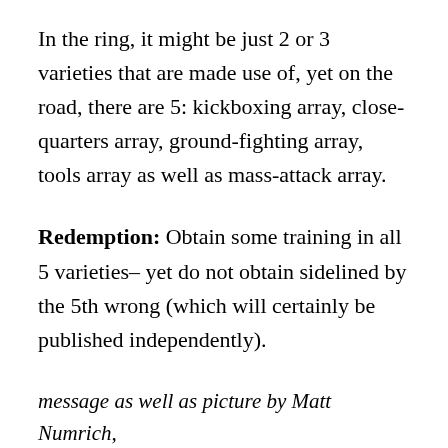In the ring, it might be just 2 or 3 varieties that are made use of, yet on the road, there are 5: kickboxing array, close-quarters array, ground-fighting array, tools array as well as mass-attack array.
Redemption: Obtain some training in all 5 varieties– yet do not obtain sidelined by the 5th wrong (which will certainly be published independently).
message as well as picture by Matt Numrich,